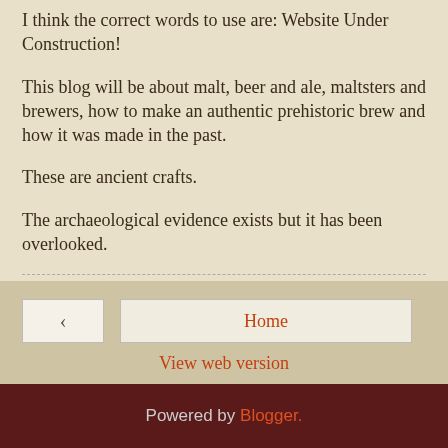I think the correct words to use are: Website Under Construction!
This blog will be about malt, beer and ale, maltsters and brewers, how to make an authentic prehistoric brew and how it was made in the past.
These are ancient crafts.
The archaeological evidence exists but it has been overlooked.
Merryn Dineley at 10:49 am   2 comments:
Home | View web version | Powered by Blogger.